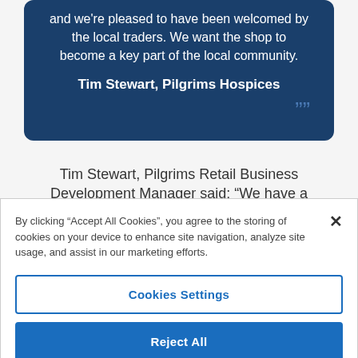and we're pleased to have been welcomed by the local traders. We want the shop to become a key part of the local community.
Tim Stewart, Pilgrims Hospices
Tim Stewart, Pilgrims Retail Business Development Manager said: “We have a
By clicking “Accept All Cookies”, you agree to the storing of cookies on your device to enhance site navigation, analyze site usage, and assist in our marketing efforts.
Cookies Settings
Reject All